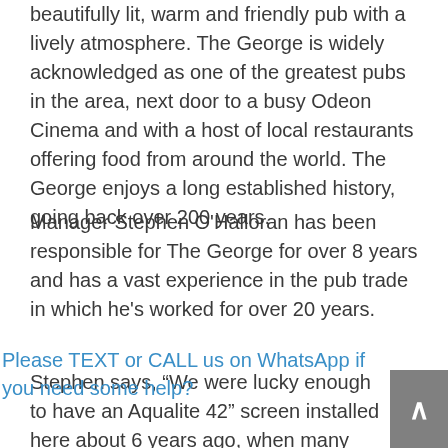beautifully lit, warm and friendly pub with a lively atmosphere. The George is widely acknowledged as one of the greatest pubs in the area, next door to a busy Odeon Cinema and with a host of local restaurants offering food from around the world. The George enjoys a long established history, going back over 200 years.
Manager Stephen O'Halloran has been responsible for The George for over 8 years and has a vast experience in the pub trade in which he's worked for over 20 years.
Stephen says, "We were lucky enough to have an Aqualite 42" screen installed here about 6 years ago, when many pubs were still getting their heads around the Governments Smoking Ban. This couldn't have really come at a worse time as
Please TEXT or CALL us on WhatsApp if you need some help?